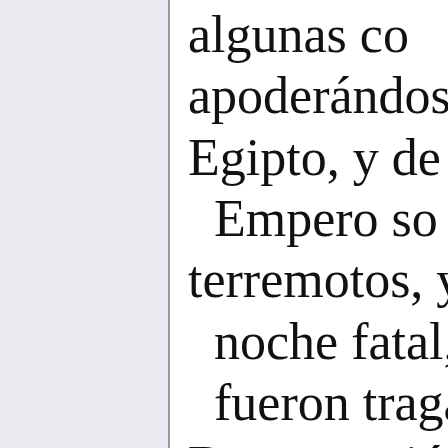algunas co apoderándos Egipto, y de l Empero so terremotos, y e noche fatal, fueron traga Desapareció